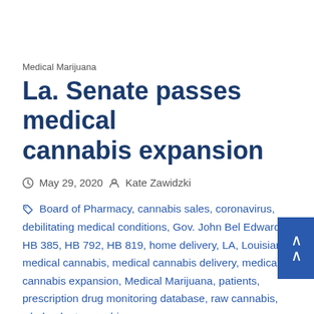Medical Marijuana
La. Senate passes medical cannabis expansion
May 29, 2020  Kate Zawidzki
Board of Pharmacy, cannabis sales, coronavirus, debilitating medical conditions, Gov. John Bel Edwards, HB 385, HB 792, HB 819, home delivery, LA, Louisiana, medical cannabis, medical cannabis delivery, medical cannabis expansion, Medical Marijuana, patients, prescription drug monitoring database, raw cannabis, whole-plant cannabis
Ask Gov. Edwards to sign the bill when it lands on his desk